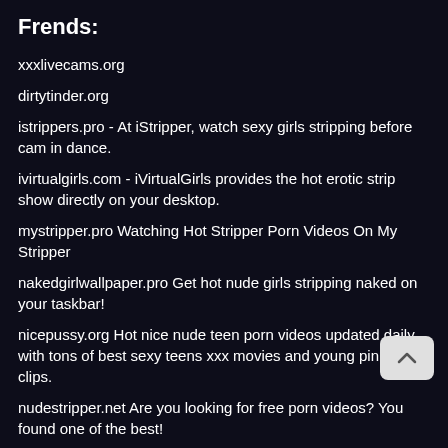Frends:
xxxlivecams.org
dirtytinder.org
istrippers.pro - At iStripper, watch sexy girls stripping before cam in dance.
ivirtualgirls.com - iVirtualGirls provides the hot erotic strip show directly on your desktop.
mystripper.pro Watching Hot Stripper Porn Videos On My Stripper
nakedgirlwallpaper.pro Get hot nude girls stripping naked on your taskbar!
nicepussy.org Hot nice nude teen porn videos updated daily with tons of best sexy teens xxx movies and young pink pussy clips.
nudestripper.net Are you looking for free porn videos? You found one of the best!
orgazm.mobi Orgazm has the daily updated hottest collections of